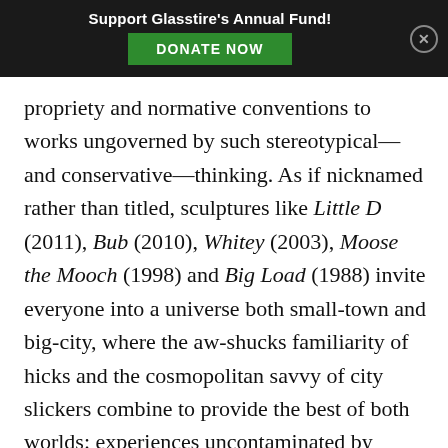Support Glasstire's Annual Fund! DONATE NOW
propriety and normative conventions to works ungoverned by such stereotypical—and conservative—thinking. As if nicknamed rather than titled, sculptures like Little D (2011), Bub (2010), Whitey (2003), Moose the Mooch (1998) and Big Load (1988) invite everyone into a universe both small-town and big-city, where the aw-shucks familiarity of hicks and the cosmopolitan savvy of city slickers combine to provide the best of both worlds: experiences uncontaminated by pettiness, resentment and territorialism